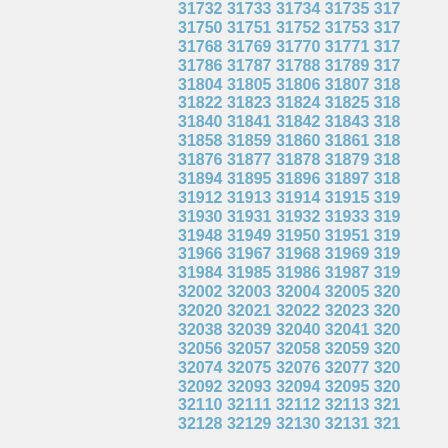31732 31733 31734 31735 317... 31750 31751 31752 31753 317... 31768 31769 31770 31771 317... 31786 31787 31788 31789 317... 31804 31805 31806 31807 318... 31822 31823 31824 31825 318... 31840 31841 31842 31843 318... 31858 31859 31860 31861 318... 31876 31877 31878 31879 318... 31894 31895 31896 31897 318... 31912 31913 31914 31915 319... 31930 31931 31932 31933 319... 31948 31949 31950 31951 319... 31966 31967 31968 31969 319... 31984 31985 31986 31987 319... 32002 32003 32004 32005 320... 32020 32021 32022 32023 320... 32038 32039 32040 32041 320... 32056 32057 32058 32059 320... 32074 32075 32076 32077 320... 32092 32093 32094 32095 320... 32110 32111 32112 32113 321... 32128 32129 32130 32131 321...